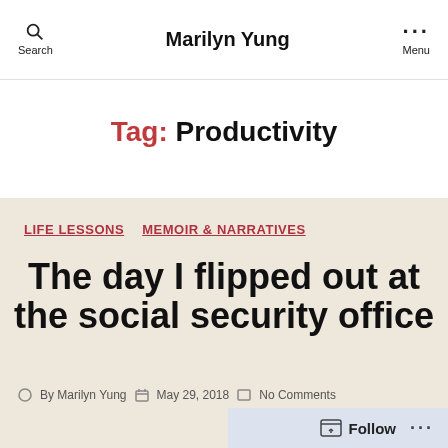Marilyn Yung
Tag: Productivity
LIFE LESSONS   MEMOIR & NARRATIVES
The day I flipped out at the social security office
By Marilyn Yung   May 29, 2018   No Comments